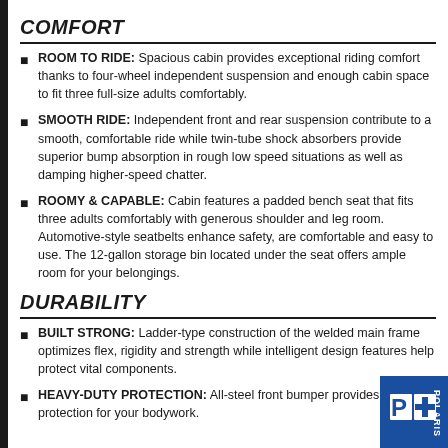COMFORT
ROOM TO RIDE: Spacious cabin provides exceptional riding comfort thanks to four-wheel independent suspension and enough cabin space to fit three full-size adults comfortably.
SMOOTH RIDE: Independent front and rear suspension contribute to a smooth, comfortable ride while twin-tube shock absorbers provide superior bump absorption in rough low speed situations as well as damping higher-speed chatter.
ROOMY & CAPABLE: Cabin features a padded bench seat that fits three adults comfortably with generous shoulder and leg room. Automotive-style seatbelts enhance safety, are comfortable and easy to use. The 12-gallon storage bin located under the seat offers ample room for your belongings.
DURABILITY
BUILT STRONG: Ladder-type construction of the welded main frame optimizes flex, rigidity and strength while intelligent design features help protect vital components.
HEAVY-DUTY PROTECTION: All-steel front bumper provides protection for your bodywork.
[Figure (logo): Polaris logo in blue square, bottom right corner]